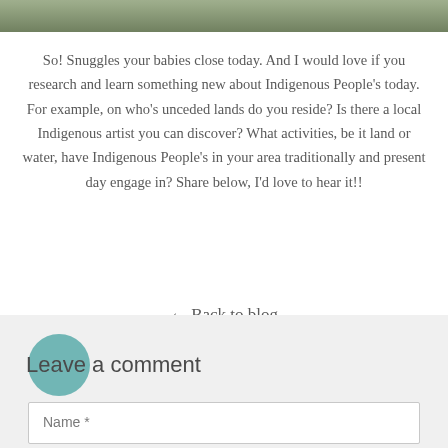[Figure (photo): Partial photo strip at top of page showing people outdoors]
So! Snuggles your babies close today. And I would love if you research and learn something new about Indigenous People’s today. For example, on who’s unceded lands do you reside? Is there a local Indigenous artist you can discover? What activities, be it land or water, have Indigenous People’s in your area traditionally and present day engage in? Share below, I’d love to hear it!!
← Back to blog
Leave a comment
Name *